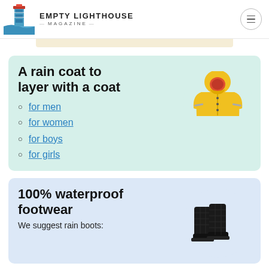Empty Lighthouse Magazine
A rain coat to layer with a coat
for men
for women
for boys
for girls
[Figure (photo): Yellow children's rain jacket with hood and reflective stripes]
100% waterproof footwear
We suggest rain boots:
[Figure (photo): Black quilted rain boots / wellington boots]